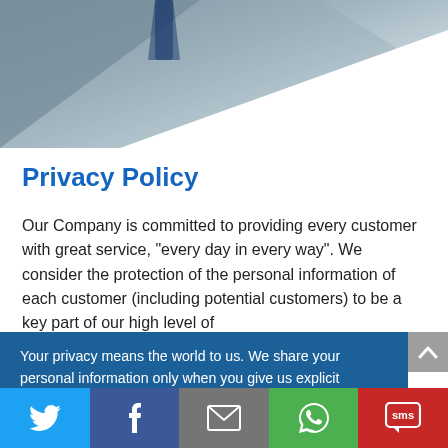[Figure (photo): Background photo showing a person in a suit, partially visible in upper portion of page, grayscale/muted tones]
Privacy Policy
Our Company is committed to providing every customer with great service, "every day in every way". We consider the protection of the personal information of each customer (including potential customers) to be a key part of our high level of
Your privacy means the world to us. We share your personal information only when you give us explicit permission to do so, and confirm we have your permission each time. Learn more by viewing our privacy policy.
[Figure (infographic): Social sharing bar at bottom with Twitter, Facebook, Email, WhatsApp, and SMS icons on colored backgrounds]